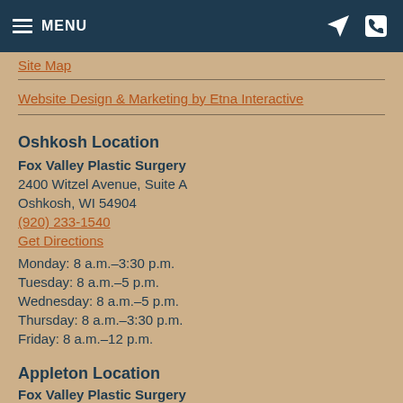MENU
Site Map
Website Design & Marketing by Etna Interactive
Oshkosh Location
Fox Valley Plastic Surgery
2400 Witzel Avenue, Suite A
Oshkosh, WI 54904
(920) 233-1540
Get Directions
Monday: 8 a.m.–3:30 p.m.
Tuesday: 8 a.m.–5 p.m.
Wednesday: 8 a.m.–5 p.m.
Thursday: 8 a.m.–3:30 p.m.
Friday: 8 a.m.–12 p.m.
Appleton Location
Fox Valley Plastic Surgery